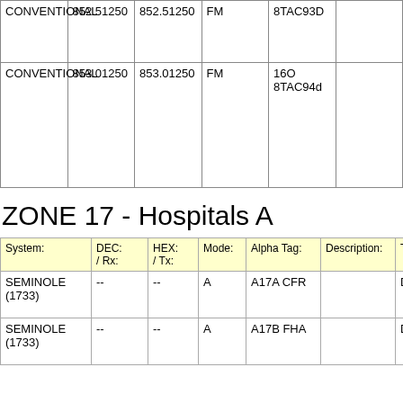| System: | DEC: / Rx: | HEX: / Tx: | Mode: | Alpha Tag: | Description: | Tag: |
| --- | --- | --- | --- | --- | --- | --- |
| CONVENTIONAL | 852.51250 | 852.51250 | FM |  | 8TAC93D |  |
| CONVENTIONAL | 853.01250 | 853.01250 | FM |  | 16O
8TAC94d |  |
ZONE 17 - Hospitals A
| System: | DEC: / Rx: | HEX: / Tx: | Mode: | Alpha Tag: | Description: | Tag: |
| --- | --- | --- | --- | --- | --- | --- |
| SEMINOLE (1733) | -- | -- | A | A17A CFR |  | Deprecated |
| SEMINOLE (1733) | -- | -- | A | A17B FHA |  | Deprecated |